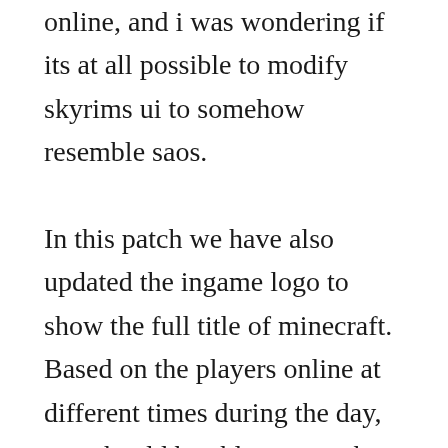online, and i was wondering if its at all possible to modify skyrims ui to somehow resemble saos.

In this patch we have also updated the ingame logo to show the full title of minecraft. Based on the players online at different times during the day, you should be able to see when a server is most or least active to plan your favorite time to play. Explora mundos infinitos e cria tudo, desde as casas mais simples aos castelos mais grandiosos. Finally, click install at the bottom right of the launcher